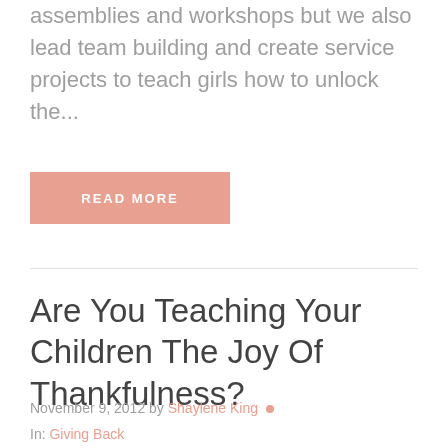assemblies and workshops but we also lead team building and create service projects to teach girls how to unlock the...
READ MORE
Are You Teaching Your Children The Joy Of Thankfulness?
November 9, 2012 by Shaylene King •
In: Giving Back